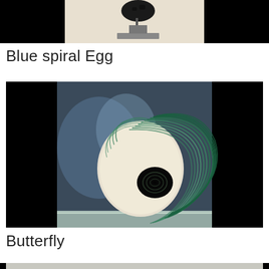[Figure (photo): Top portion of an artwork image, partially visible. Dark background with a silhouette of a figure/sculpture on a pedestal.]
Blue spiral Egg
[Figure (photo): A sculptural egg-shaped form with green spiral lines wrapping around a pale cream/white egg body. The spiral creates a dramatic shell-like pattern. Set against a dark/blue-black background on a light surface.]
Butterfly
[Figure (photo): Bottom edge of another artwork image, partially visible at the bottom of the page.]